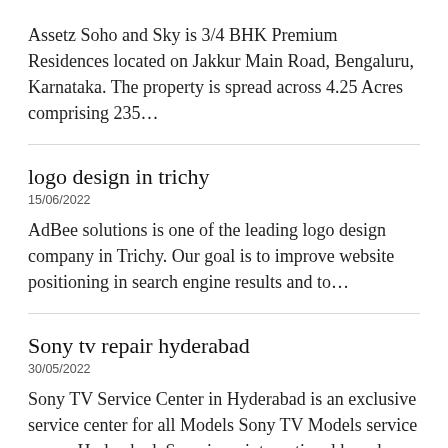Assetz Soho and Sky is 3/4 BHK Premium Residences located on Jakkur Main Road, Bengaluru, Karnataka. The property is spread across 4.25 Acres comprising 235…
logo design in trichy
15/06/2022
AdBee solutions is one of the leading logo design company in Trichy. Our goal is to improve website positioning in search engine results and to…
Sony tv repair hyderabad
30/05/2022
Sony TV Service Center in Hyderabad is an exclusive service center for all Models Sony TV Models service across Hyderabad, Sony is an international brand…